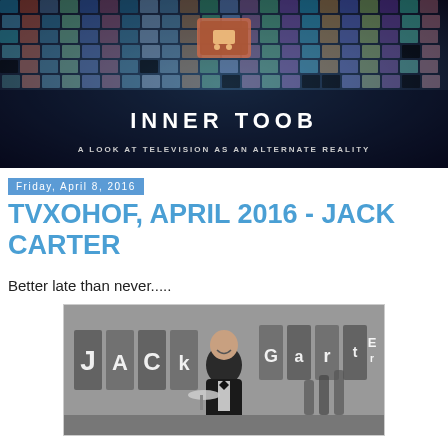[Figure (illustration): Inner Toob blog banner: a curved wall of TV screens in dark blue/teal tones with the text INNER TOOB and subtitle A LOOK AT TELEVISION AS AN ALTERNATE REALITY. A small logo icon is centered at the top.]
Friday, April 8, 2016
TVXOHOF, APRIL 2016 - JACK CARTER
Better late than never.....
[Figure (photo): Black and white photograph of Jack Carter smiling in a tuxedo, holding a serving tray, with large letters spelling JACK and CARTER visible in the background along with cartoon-like figures.]